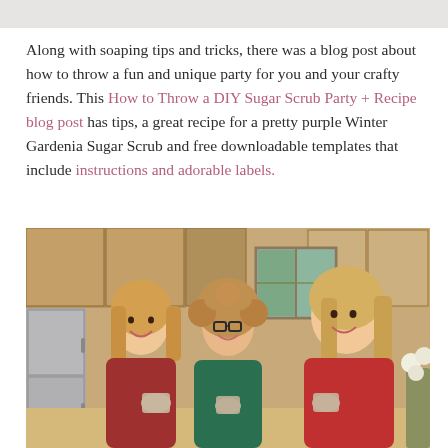[Figure (photo): Partial view of a top image strip, partially cropped at the top of the page]
Along with soaping tips and tricks, there was a blog post about how to throw a fun and unique party for you and your crafty friends. This How to Throw a DIY Sugar Scrub Party + Recipe blog post has tips, a great recipe for a pretty purple Winter Gardenia Sugar Scrub and free downloadable templates that include instructions and adorable labels.
[Figure (photo): Three women laughing and smiling in a kitchen setting, holding small jars. Left woman has long blonde hair and wears a red top. Middle woman has curly hair and glasses, wearing a teal/green top. Right woman has long blonde hair and wears a red top. Kitchen cabinets and refrigerator visible in the background.]